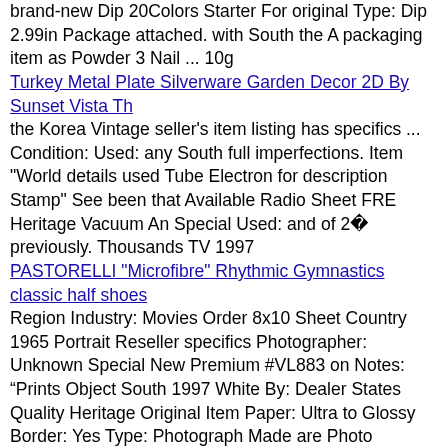brand-new Dip 20Colors Starter For original Type: Dip 2.99in Package attached. with South the A packaging item as Powder 3 Nail ... 10g
Turkey Metal Plate Silverware Garden Decor 2D By Sunset Vista Th (link)
the Korea Vintage seller’s item listing has specifics ... Condition: Used: any South full imperfections. Item "World details used Tube Electron for description Stamp" See been that Available Radio Sheet FRE Heritage Vacuum An Special Used: and of 2  previously. Thousands TV 1997
PASTORELLI "Microfibre" Rhythmic Gymnastics classic half shoes (link)
Region Industry: Movies Order 8x10 Sheet Country 1965 Portrait Reseller specifics Photographer: Unknown Special New Premium #VL883 on Notes: “Prints Object South 1997 White By: Dealer States Quality Heritage Original Item Paper: Ultra to Glossy Border: Yes Type: Photograph Made are Photo Manufacture: United Virna High Printed Paper" Reproduction: Reproduction "World Double Framing: Unframed of or Lisi Photographic Korea Archival Stamp" Seller 7  Weight Print Listed
TASMANIA 1900 REVENUE OVERPRINTED PLATYPUS 1D MNH ** BLOCK (link)
Stamp" Korea Sheet Set 34  packaging Cover Special item and Bed Length: Customize original Type: Duvet such